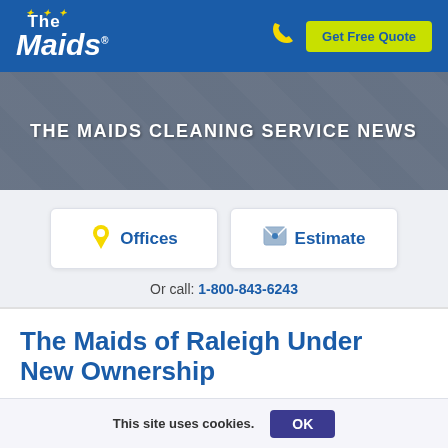[Figure (logo): The Maids logo in white on blue background with yellow stars]
Get Free Quote
[Figure (photo): Hero banner with blurred newspaper/documents background, overlaid with semi-transparent dark blue tint]
THE MAIDS CLEANING SERVICE NEWS
Offices
Estimate
Or call: 1-800-843-6243
The Maids of Raleigh Under New Ownership
This site uses cookies.